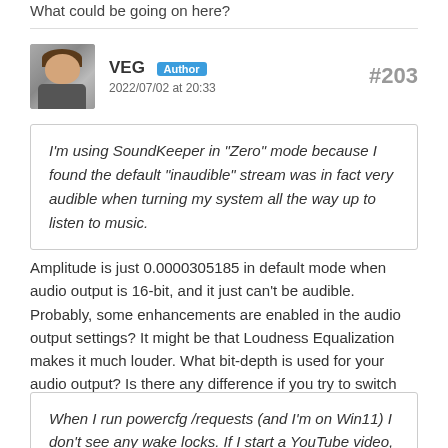What could be going on here?
VEG Author
2022/07/02 at 20:33
#203
I'm using SoundKeeper in "Zero" mode because I found the default "inaudible" stream was in fact very audible when turning my system all the way up to listen to music.
Amplitude is just 0.0000305185 in default mode when audio output is 16-bit, and it just can't be audible. Probably, some enhancements are enabled in the audio output settings? It might be that Loudness Equalization makes it much louder. What bit-depth is used for your audio output? Is there any difference if you try to switch between 16-bit/24-bit/32-bit? Maybe there is a bug in handling different bit-depths.
When I run powercfg /requests (and I'm on Win11) I don't see any wake locks. If I start a YouTube video, I will see Chrome in there, so I know it's working. But with nothing but